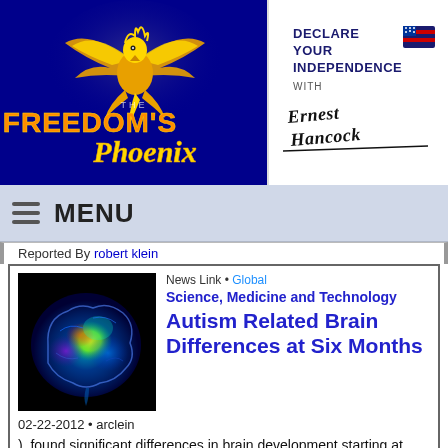[Figure (logo): Freedom's Phoenix logo with golden phoenix bird on dark blue background with orange/gold text]
[Figure (logo): Declare Your Independence with Ernest Hancock logo in black and white]
MENU
Reported By robert klein
News Link • Global
Science, Medicine and Technology
Autism Related Brain Differences at Six Months
[Figure (photo): Brain scan MRI image showing colorful brain cross-section on black background]
02-22-2012 • arclein
), found significant differences in brain development starting at age 6 months in high-risk infants who later develop autism, compared to high-risk infants who did not de
Make a Comment • Email Link • Send Letter to Editor
Reported By robert klein